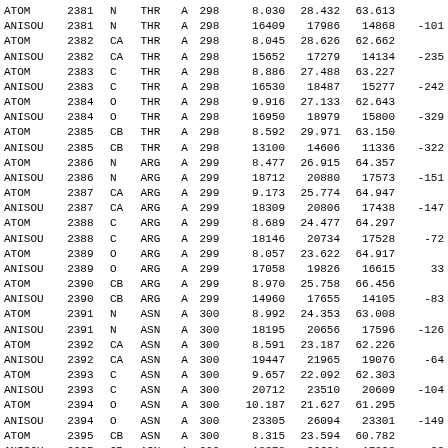| ATOM | 2381 | N | THR | A | 298 | 8.030 | 28.432 | 63.613 | ... |
| ANISOU | 2381 | N | THR | A | 298 | 16409 | 17986 | 14868 | -101 |
| ATOM | 2382 | CA | THR | A | 298 | 8.045 | 28.626 | 62.662 | ... |
| ANISOU | 2382 | CA | THR | A | 298 | 15652 | 17279 | 14134 | -235 |
| ATOM | 2383 | C | THR | A | 298 | 8.886 | 27.488 | 63.227 | ... |
| ANISOU | 2383 | C | THR | A | 298 | 16530 | 18487 | 15277 | -242 |
| ATOM | 2384 | O | THR | A | 298 | 9.916 | 27.133 | 62.643 | ... |
| ANISOU | 2384 | O | THR | A | 298 | 16950 | 18979 | 15800 | -329 |
| ATOM | 2385 | CB | THR | A | 298 | 8.592 | 29.971 | 63.150 | ... |
| ANISOU | 2385 | CB | THR | A | 298 | 13100 | 14606 | 11336 | -322 |
| ATOM | 2386 | N | ARG | A | 299 | 8.477 | 26.915 | 64.357 | ... |
| ANISOU | 2386 | N | ARG | A | 299 | 18712 | 20880 | 17573 | -151 |
| ATOM | 2387 | CA | ARG | A | 299 | 9.173 | 25.774 | 64.947 | ... |
| ANISOU | 2387 | CA | ARG | A | 299 | 18309 | 20806 | 17438 | -147 |
| ATOM | 2388 | C | ARG | A | 299 | 8.689 | 24.477 | 64.297 | ... |
| ANISOU | 2388 | C | ARG | A | 299 | 18146 | 20734 | 17528 | -72 |
| ATOM | 2389 | O | ARG | A | 299 | 8.057 | 23.622 | 64.917 | ... |
| ANISOU | 2389 | O | ARG | A | 299 | 17058 | 19826 | 16615 | 33 |
| ATOM | 2390 | CB | ARG | A | 299 | 8.970 | 25.758 | 66.456 | ... |
| ANISOU | 2390 | CB | ARG | A | 299 | 14960 | 17655 | 14105 | -83 |
| ATOM | 2391 | N | ASN | A | 300 | 8.992 | 24.353 | 63.008 | ... |
| ANISOU | 2391 | N | ASN | A | 300 | 18195 | 20656 | 17596 | -126 |
| ATOM | 2392 | CA | ASN | A | 300 | 8.591 | 23.187 | 62.226 | ... |
| ANISOU | 2392 | CA | ASN | A | 300 | 19447 | 21965 | 19076 | -64 |
| ATOM | 2393 | C | ASN | A | 300 | 9.657 | 22.092 | 62.303 | ... |
| ANISOU | 2393 | C | ASN | A | 300 | 20712 | 23510 | 20609 | -104 |
| ATOM | 2394 | O | ASN | A | 300 | 10.187 | 21.627 | 61.295 | ... |
| ANISOU | 2394 | O | ASN | A | 300 | 23305 | 26094 | 23301 | -149 |
| ATOM | 2395 | CB | ASN | A | 300 | 8.315 | 23.594 | 60.782 | ... |
| ANISOU | 2395 | CB | ASN | A | 300 | 18378 | 20621 | 17893 | -93 |
| ATOM | 2396 | N | SER | A | 301 | 9.074 | 21.667 | 62.540 | ... |